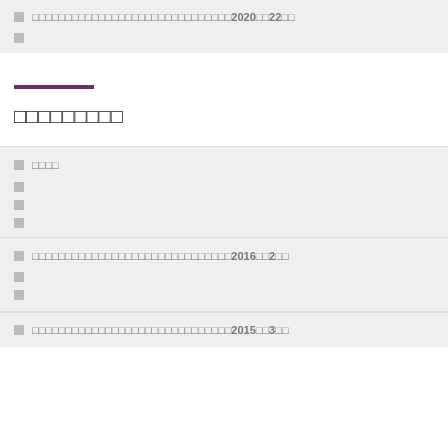□　□□□□□□□□□□□□□□□□□□□□□□□□□□□□□2020□□22□□
□
□□□□□□□□□
□　□□□□
□
□
□
□　□□□□□□□□□□□□□□□□□□□□□□□□□□□□□2016□□2□□
□
□
□　□□□□□□□□□□□□□□□□□□□□□□□□□□□□□2015□□3□□